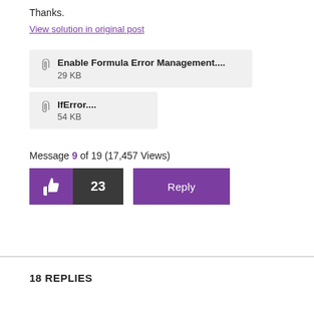Thanks.
View solution in original post
[Figure (other): Attachment box: paperclip icon with filename 'Enable Formula Error Management....' and size '29 KB']
[Figure (other): Attachment box: paperclip icon with filename 'IfError....' and size '54 KB']
Message 9 of 19 (17,457 Views)
[Figure (other): Like button (purple thumbs up), count button showing 23 (dark grey), Reply button (purple)]
18 REPLIES